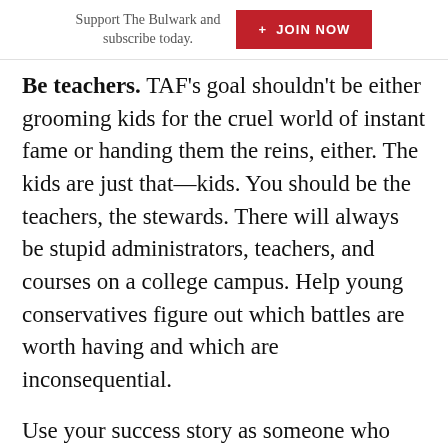Support The Bulwark and subscribe today.   + JOIN NOW
Be teachers. TAF's goal shouldn't be either grooming kids for the cruel world of instant fame or handing them the reins, either. The kids are just that—kids. You should be the teachers, the stewards. There will always be stupid administrators, teachers, and courses on a college campus. Help young conservatives figure out which battles are worth having and which are inconsequential.
Use your success story as someone who didn't finish college to inspire kids—even the ones who might eschew college—to understand the importance of education writ large. Instead of